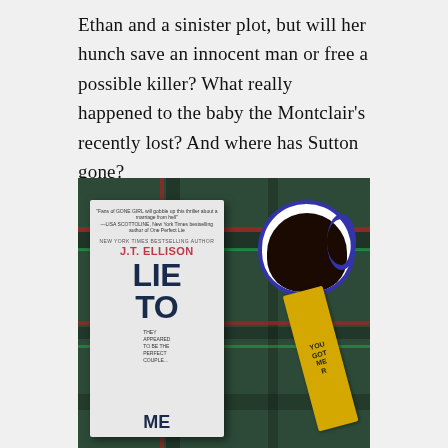Ethan and a sinister plot, but will her hunch save an innocent man or free a possible killer? What really happened to the baby the Montclair's recently lost? And where has Sutton gone?
[Figure (photo): Photo of a book titled 'Lie to Me' by J.T. Ellison (New York Times Bestselling Author) placed next to a white mug with blue rim containing black coffee, and a yellow bookmark with string lights decoration, all resting on a green plaid blanket/fabric.]